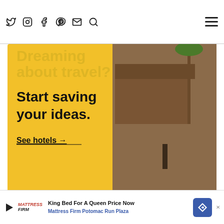Navigation bar with social icons (Twitter, Instagram, Facebook, Pinterest, Email, Search) and hamburger menu
[Figure (illustration): Tripadvisor advertisement: yellow background with text 'Dreaming about travel? Start saving your ideas. See hotels →' and Tripadvisor logo. Right side shows a photo of an overwater bungalow resort with a pool.]
GET YOUR VISAS HASSLE FREE
[Figure (screenshot): Blue banner with white bold text 'Check Visa Requirements']
[Figure (illustration): Bottom advertisement bar: Mattress Firm ad reading 'King Bed For A Queen Price Now' and 'Mattress Firm Potomac Run Plaza' with play button, Mattress Firm logo, and blue diamond navigation icon]